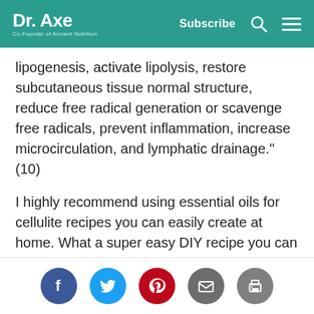Dr. Axe Co-Founder of Ancient Nutrition | Subscribe
lipogenesis, activate lipolysis, restore subcutaneous tissue normal structure, reduce free radical generation or scavenge free radicals, prevent inflammation, increase microcirculation, and lymphatic drainage." (10)
I highly recommend using essential oils for cellulite recipes you can easily create at home. What a super easy DIY recipe you can try to combat your dimpled skin? Make this Grapefruit Cellulite Cream in two minutes and apply it daily.
Can coconut oil help reduce cellulite? Coconut oil
[Figure (other): Social sharing icons row: Facebook (blue circle), Twitter (teal circle), Pinterest (red circle), Email (grey circle), Print (grey circle)]